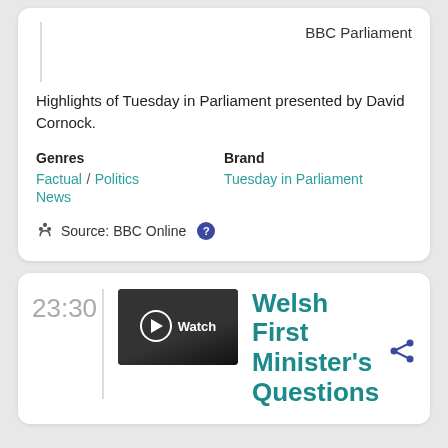BBC Parliament
Highlights of Tuesday in Parliament presented by David Cornock.
Genres
Factual / Politics
News
Brand
Tuesday in Parliament
Source: BBC Online
23:30
[Figure (screenshot): Video thumbnail showing a dark scene with a play button overlay and 'Watch' text label]
Welsh First Minister's Questions